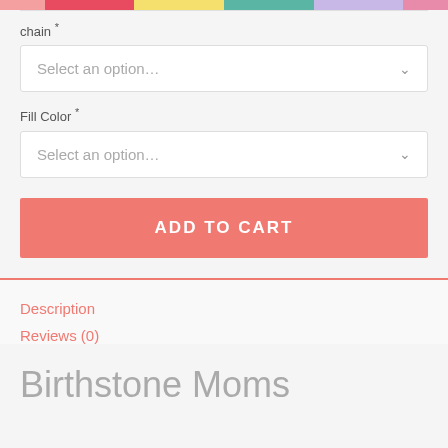[Figure (other): Horizontal color swatches bar: salmon/coral, red, yellow, teal, lavender, pink]
chain *
Select an option...
Fill Color *
Select an option...
ADD TO CART
Description
Reviews (0)
Birthstone Moms